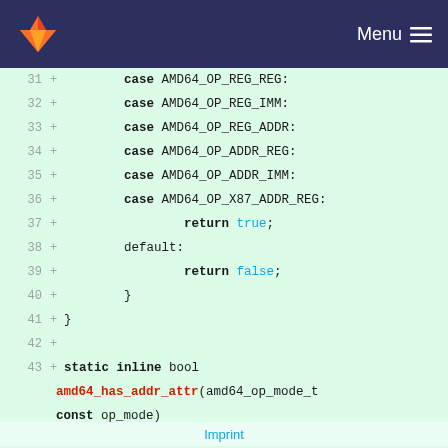GitLab — Menu
[Figure (screenshot): Code diff view showing lines 31–47 of a C source file, with line numbers, '+' markers indicating additions, and syntax-highlighted code on a green background. Lines show case statements for AMD64 operand types, a return true/false block, closing braces, and a new static inline bool function amd64_has_addr_attr with a switch statement.]
Imprint